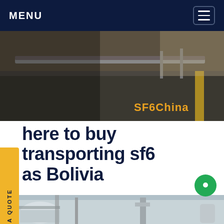MENU
[Figure (photo): Outdoor industrial road/pipeline scene with yellow stripe]
Where to buy transporting sf6 gas Bolivia
industrial gases, medical gases and specialty gases. The only manufacturer and supplier of industrial medical gas and specialty gas products in Australia and New Zealand, we are ideally placed to get all of your compressed gas and cryogenic and needs. Established in 1974, we have a wealth of experience as a gas supplier to companiesGet price
[Figure (photo): Industrial equipment/tanks scene at bottom of page]